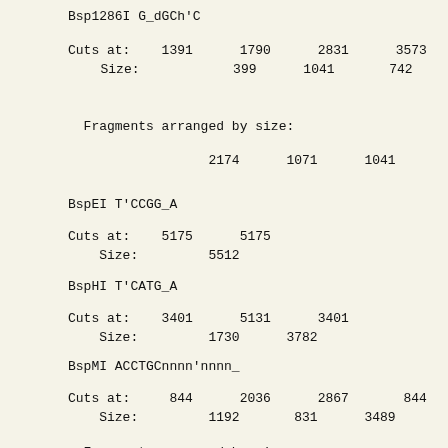Bsp1286I G_dGCh'C
Cuts at:    1391      1790      2831      3573      3658      4
    Size:            399      1041       742        85      1071
Fragments arranged by size:
2174      1071      1041       742       399
BspEI T'CCGG_A
Cuts at:    5175      5175
    Size:         5512
BspHI T'CATG_A
Cuts at:    3401      5131      3401
    Size:         1730      3782
BspMI ACCTGCnnnn'nnnn_
Cuts at:     844      2036      2867       844
    Size:         1192       831      3489
Fragments arranged by size:
3489      1192       831
BsrBI CCG'CTC